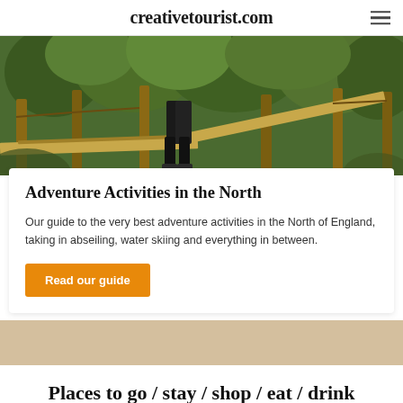creativetourist.com
[Figure (photo): Person walking on a wooden rope bridge / adventure activity course in a green forest setting, viewed from below the waist. Wooden posts, rope guides, and a ramp visible among trees.]
Adventure Activities in the North
Our guide to the very best adventure activities in the North of England, taking in abseiling, water skiing and everything in between.
Read our guide
Places to go / stay / shop / eat / drink